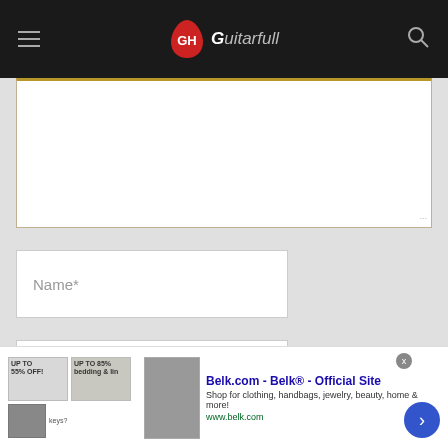[Figure (screenshot): Website header with hamburger menu icon on left, GuitarHell logo in center (red drop icon with 'GH' text and italic 'Guitarfull' text), and search icon on right, all on dark background]
[Figure (screenshot): Comment form with textarea at top with gold top border, and three input fields: Name*, Email*, Website, on light gray background]
[Figure (screenshot): Advertisement overlay at bottom for Belk.com with title 'Belk.com - Belk® - Official Site', description 'Shop for clothing, handbags, jewelry, beauty, home & more!', URL 'www.belk.com', with product images on left]